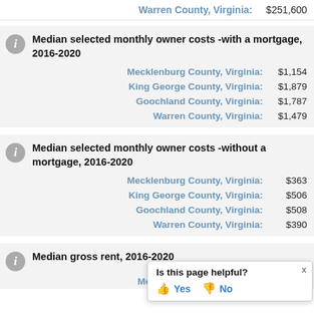Warren County, Virginia:   $251,600
Median selected monthly owner costs -with a mortgage, 2016-2020
Mecklenburg County, Virginia:   $1,154
King George County, Virginia:   $1,879
Goochland County, Virginia:   $1,787
Warren County, Virginia:   $1,479
Median selected monthly owner costs -without a mortgage, 2016-2020
Mecklenburg County, Virginia:   $363
King George County, Virginia:   $506
Goochland County, Virginia:   $508
Warren County, Virginia:   $390
Median gross rent, 2016-2020
Mecklenburg County, Virginia:   ...